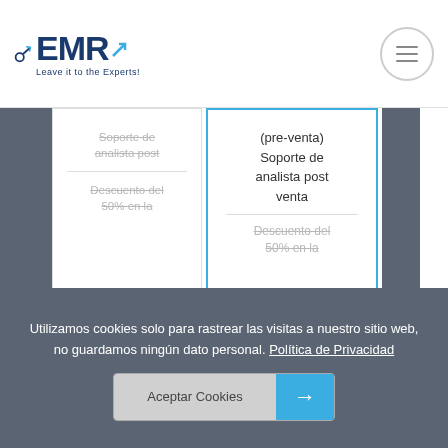EMR - Leave it to the Experts!
Soporte de analista post
Descuento del 50% en la
Comprar Ahora
(pre-venta) Soporte de analista post venta
Descuento del 50% en la
Comprar Ahora
Utilizamos cookies solo para rastrear las visitas a nuestro sitio web, no guardamos ningún dato personal. Política de Privacidad
Aceptar Cookies →